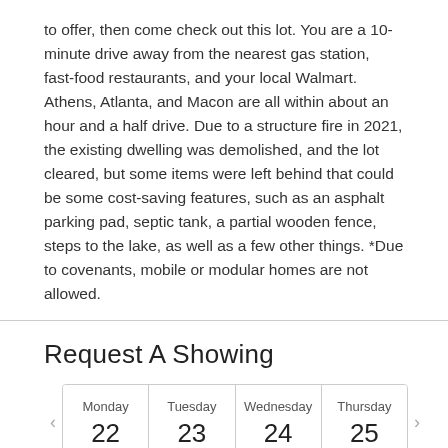to offer, then come check out this lot. You are a 10-minute drive away from the nearest gas station, fast-food restaurants, and your local Walmart. Athens, Atlanta, and Macon are all within about an hour and a half drive. Due to a structure fire in 2021, the existing dwelling was demolished, and the lot cleared, but some items were left behind that could be some cost-saving features, such as an asphalt parking pad, septic tank, a partial wooden fence, steps to the lake, as well as a few other things. *Due to covenants, mobile or modular homes are not allowed.
Request A Showing
| Monday 22 | Tuesday 23 | Wednesday 24 | Thursday 25 |
| --- | --- | --- | --- |
Aug